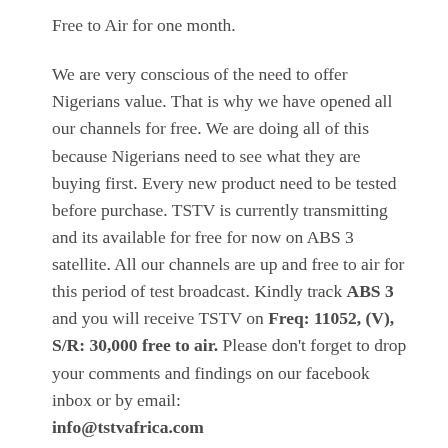Free to Air for one month.
We are very conscious of the need to offer Nigerians value. That is why we have opened all our channels for free. We are doing all of this because Nigerians need to see what they are buying first. Every new product need to be tested before purchase. TSTV is currently transmitting and its available for free for now on ABS 3 satellite. All our channels are up and free to air for this period of test broadcast. Kindly track ABS 3 and you will receive TSTV on Freq: 11052, (V), S/R: 30,000 free to air. Please don't forget to drop your comments and findings on our facebook inbox or by email: info@tstvafrica.com